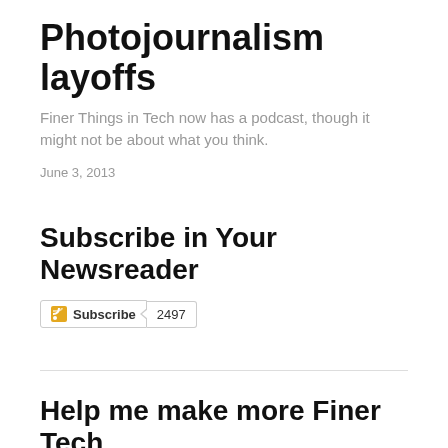Photojournalism layoffs
Finer Things in Tech now has a podcast, though it might not be about what you think.
June 3, 2013
Subscribe in Your Newsreader
[Figure (other): RSS Subscribe button with count 2497]
Help me make more Finer Tech
Ko-Fi supports one-time and recurring contributions
[Figure (other): Ko-Fi blue contribution button]